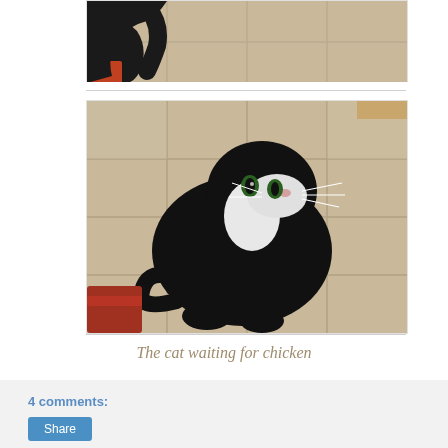[Figure (photo): Top portion of a black cat visible at the top of the page, cropped — shows the tail and lower body of a black cat on a beige/tan tile floor.]
[Figure (photo): A black and white tuxedo cat looking upward at the camera from a beige tile floor. The cat has a white chest/muzzle area, green eyes, and long white whiskers. Its tail curves around to the side. A red object is partially visible at the bottom left.]
The cat waiting for chicken
4 comments:
Share